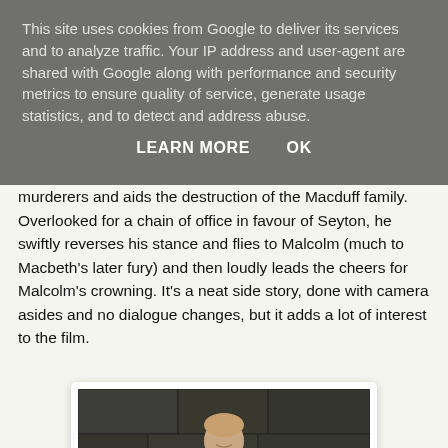This site uses cookies from Google to deliver its services and to analyze traffic. Your IP address and user-agent are shared with Google along with performance and security metrics to ensure quality of service, generate usage statistics, and to detect and address abuse.
LEARN MORE    OK
murderers and aids the destruction of the Macduff family. Overlooked for a chain of office in favour of Seyton, he swiftly reverses his stance and flies to Malcolm (much to Macbeth's later fury) and then loudly leads the cheers for Malcolm's crowning. It's a neat side story, done with camera asides and no dialogue changes, but it adds a lot of interest to the film.
[Figure (photo): A figure in medieval costume standing in a stone setting, wearing a blue-grey tunic with decorative trim, holding something in their hands.]